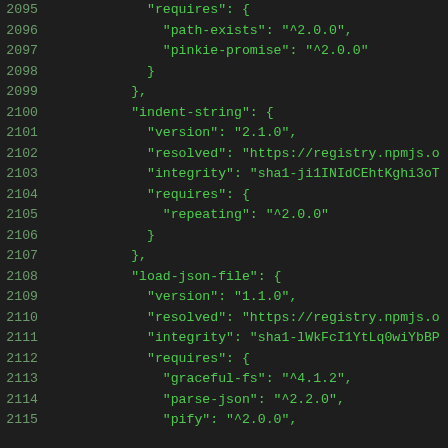Code listing lines 2095-2115 showing JSON package lock file content with requires, indent-string, and load-json-file package entries.